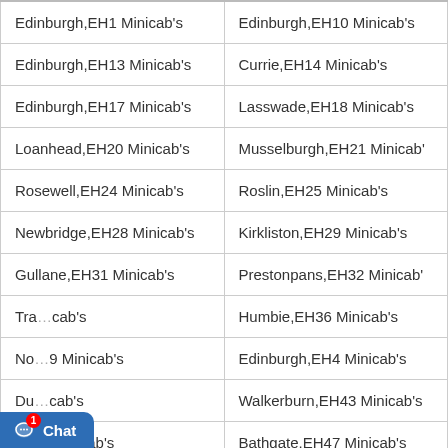| Edinburgh,EH1 Minicab's | Edinburgh,EH10 Minicab's |
| Edinburgh,EH13 Minicab's | Currie,EH14 Minicab's |
| Edinburgh,EH17 Minicab's | Lasswade,EH18 Minicab's |
| Loanhead,EH20 Minicab's | Musselburgh,EH21 Minicab's |
| Rosewell,EH24 Minicab's | Roslin,EH25 Minicab's |
| Newbridge,EH28 Minicab's | Kirkliston,EH29 Minicab's |
| Gullane,EH31 Minicab's | Prestonpans,EH32 Minicab's |
| Tra[...] Minicab's | Humbie,EH36 Minicab's |
| No[...] 9 Minicab's | Edinburgh,EH4 Minicab's |
| Du[...] Minicab's | Walkerburn,EH43 Minicab's |
| We[...] Minicab's | Bathgate,EH47 Minicab's |
| [...] gh,EH5 Minicab's | Boness,EH51 Minicab's |